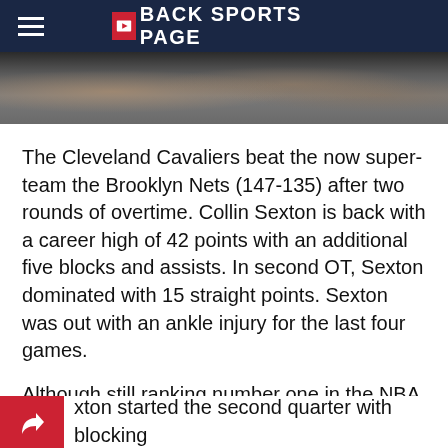BACK SPORTS PAGE
[Figure (photo): Blurred crowd photo strip at top of article]
The Cleveland Cavaliers beat the now super-team the Brooklyn Nets (147-135) after two rounds of overtime. Collin Sexton is back with a career high of 42 points with an additional five blocks and assists. In second OT, Sexton dominated with 15 straight points. Sexton was out with an ankle injury for the last four games.
Although still ranking number one in the NBA for defense, the Cavs have definitely needed help offensively. Sexton did just that.
xton started the second quarter with blocking